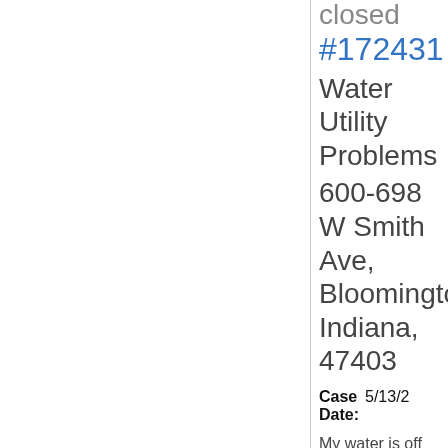closed
#172431
Water Utility Problems
600-698 W Smith Ave, Bloomington, Indiana, 47403
Case Date: 5/13/2
My water is off and shouldn't be off